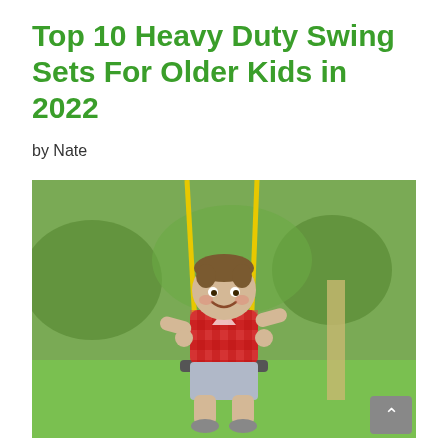Top 10 Heavy Duty Swing Sets For Older Kids in 2022
by Nate
[Figure (photo): A young boy smiling while sitting on a swing with yellow ropes, wearing a red checkered shirt and grey shorts, with a green park background]